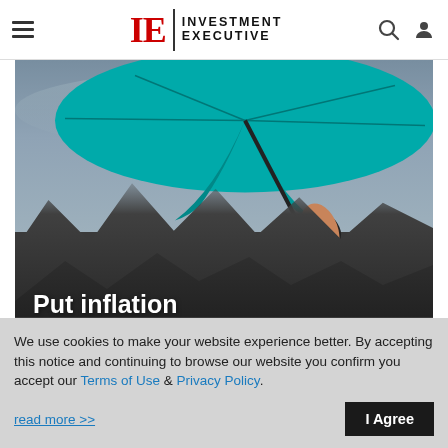Investment Executive
[Figure (photo): Person holding a teal/turquoise umbrella above dark closed umbrellas against a cloudy sky, with overlay text 'Put inflation in its place.']
We use cookies to make your website experience better. By accepting this notice and continuing to browse our website you confirm you accept our Terms of Use & Privacy Policy.
read more >>
I Agree